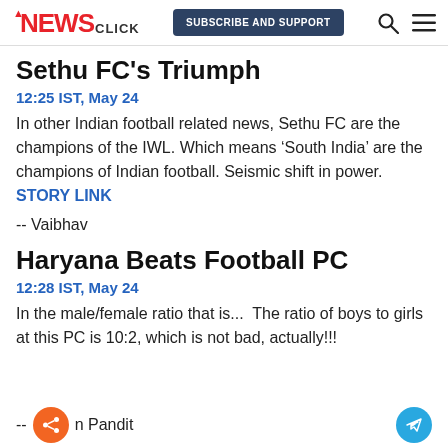NEWS CLICK | SUBSCRIBE AND SUPPORT
Sethu FC's Triumph
12:25 IST, May 24
In other Indian football related news, Sethu FC are the champions of the IWL. Which means ‘South India’ are the champions of Indian football. Seismic shift in power. STORY LINK
-- Vaibhav
Haryana Beats Football PC
12:28 IST, May 24
In the male/female ratio that is...  The ratio of boys to girls at this PC is 10:2, which is not bad, actually!!!
-- Karan Pandit